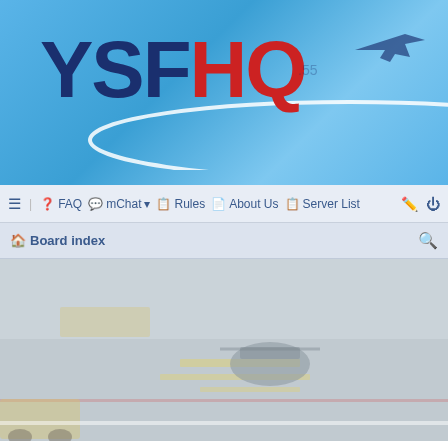[Figure (logo): YSFHQ logo banner with blue sky background, dark blue YSF text and red HQ text, with swoosh graphic and silhouette aircraft]
≡  FAQ  mChat ▾  Rules  About Us  Server List
Board index
[Figure (photo): Airport tarmac scene with military aircraft/helicopters on runway with yellow markings, faded/muted color treatment]
Unanswered topics
Go to advanced search
Search these results